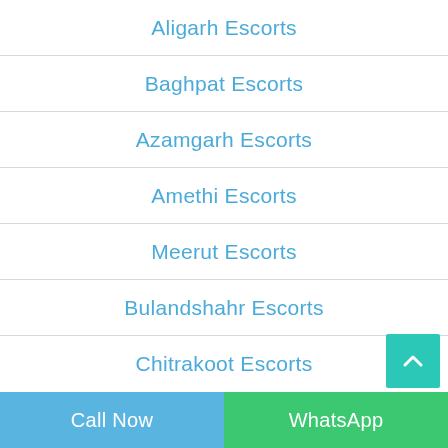Aligarh Escorts
Baghpat Escorts
Azamgarh Escorts
Amethi Escorts
Meerut Escorts
Bulandshahr Escorts
Chitrakoot Escorts
Call Now   WhatsApp